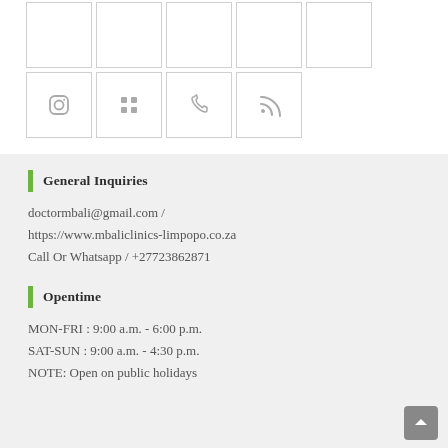[Figure (screenshot): Grid of social media icon buttons: top row has 5 empty bordered cells, second row has 4 cells with icons: Instagram, Flickr/grid, Vine/phone, RSS feed]
General Inquiries
doctormbali@gmail.com / https://www.mbaliclinics-limpopo.co.za
Call Or Whatsapp / +27723862871
Opentime
MON-FRI : 9:00 a.m. - 6:00 p.m.
SAT-SUN : 9:00 a.m. - 4:30 p.m.
NOTE: Open on public holidays